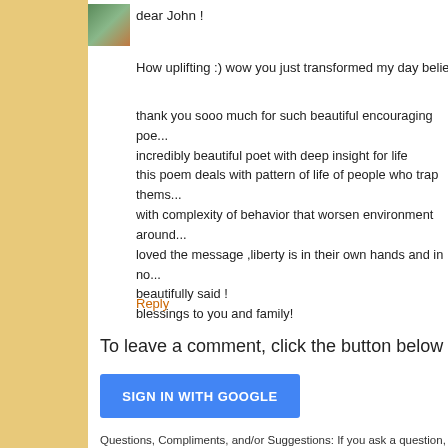[Figure (photo): Small avatar photo of a person]
dear John !
How uplifting :) wow you just transformed my day believe me
thank you sooo much for such beautiful encouraging poe... incredibly beautiful poet with deep insight for life
this poem deals with pattern of life of people who trap thems...
with complexity of behavior that worsen environment around...
loved the message ,liberty is in their own hands and in no...
beautifully said !
blessings to you and family!
Reply
To leave a comment, click the button below to sign i...
[Figure (other): SIGN IN WITH GOOGLE button (blue button)]
Questions, Compliments, and/or Suggestions: If you ask a question, p... for an answer within, usually, a day or two. Thank you in advance for... mind about suggestions. All comments are moderated. Please note: C... published. Comments with an inactive link are probably okay.
Newer Post
Home
Subscribe to: Post Comments (Atom)